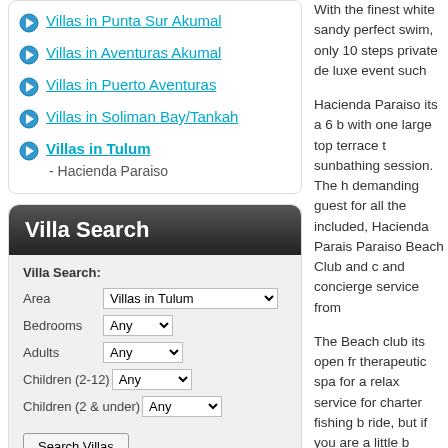Villas in Punta Sur Akumal
Villas in Aventuras Akumal
Villas in Puerto Aventuras
Villas in Soliman Bay/Tankah
Villas in Tulum
- Hacienda Paraiso
Villa Search
Villa Search:
Area: Villas in Tulum | Bedrooms: Any | Adults: Any | Children (2-12): Any | Children (2 & under): Any | Search Villas
With the finest white sandy perfect swim, only 10 steps private de luxe event such
Hacienda Paraiso its a 6 b with one large top terrace t sunbathing session. The h demanding guest for all the included, Hacienda Parais Paraiso Beach Club and c and concierge service from
The Beach club its open fr therapeutic spa for a relax service for charter fishing b ride, but if you are a little b surfing school a few steps